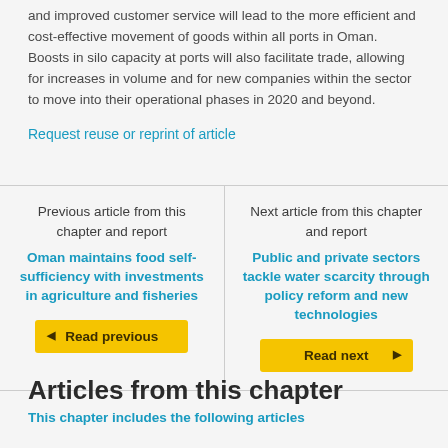and improved customer service will lead to the more efficient and cost-effective movement of goods within all ports in Oman. Boosts in silo capacity at ports will also facilitate trade, allowing for increases in volume and for new companies within the sector to move into their operational phases in 2020 and beyond.
Request reuse or reprint of article
Previous article from this chapter and report
Oman maintains food self-sufficiency with investments in agriculture and fisheries
Read previous
Next article from this chapter and report
Public and private sectors tackle water scarcity through policy reform and new technologies
Read next
Articles from this chapter
This chapter includes the following articles